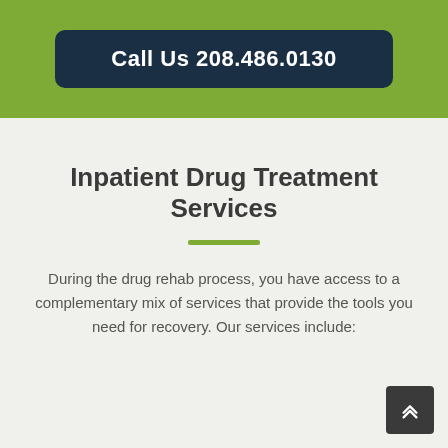Call Us 208.486.0130
Inpatient Drug Treatment Services
During the drug rehab process, you have access to a complementary mix of services that provide the tools you need for recovery. Our services include: